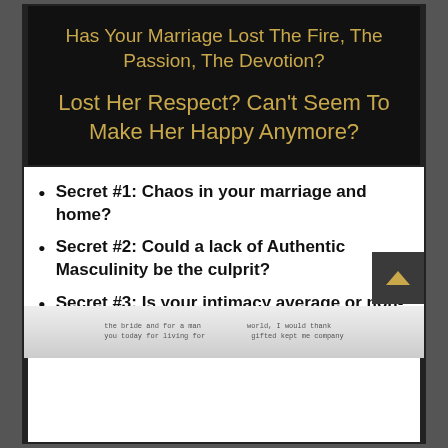Has Your Marriage Lost The Fire, The Passion, The Devotion?
Lost Her Respect? Can't Seem To Make Her Happy Anymore?
Secret #1: Chaos in your marriage and home?
Secret #2: Could a lack of Authentic Masculinity be the culprit?
Secret #3: Is your intimacy average or non-existent?
[Figure (photo): Faded vintage handwritten text with an old photograph at the bottom of the page]